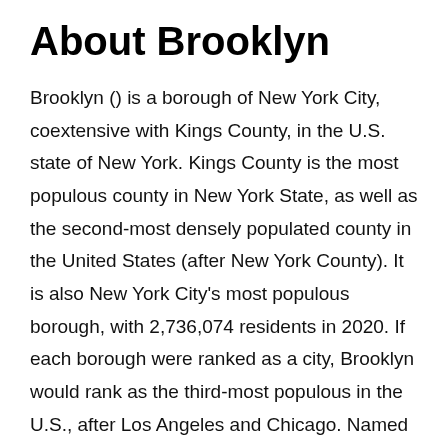About Brooklyn
Brooklyn () is a borough of New York City, coextensive with Kings County, in the U.S. state of New York. Kings County is the most populous county in New York State, as well as the second-most densely populated county in the United States (after New York County). It is also New York City's most populous borough, with 2,736,074 residents in 2020. If each borough were ranked as a city, Brooklyn would rank as the third-most populous in the U.S., after Los Angeles and Chicago. Named after the Dutch village of Breukelen, it shares a land border with the borough of Queens, on the western end of Long Island. Brooklyn has several bridge and tunnel connections to the borough of Manhattan across the East River